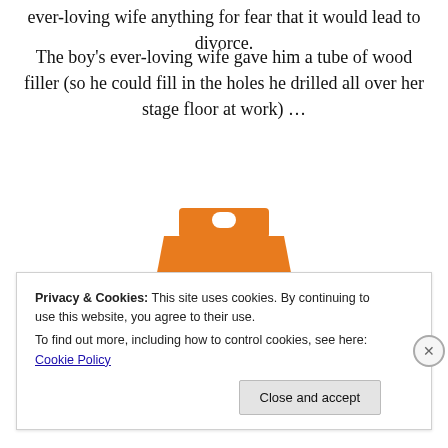ever-loving wife anything for fear that it would lead to divorce.
The boy's ever-loving wife gave him a tube of wood filler (so he could fill in the holes he drilled all over her stage floor at work) …
[Figure (photo): Elmer's Carpenter's Wood Filler product package — orange and blue tube/container]
Privacy & Cookies: This site uses cookies. By continuing to use this website, you agree to their use.
To find out more, including how to control cookies, see here: Cookie Policy